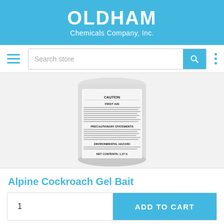OLDHAM Chemicals Company, Inc.
[Figure (screenshot): Navigation bar with hamburger menu icon, search store input field, search button, and vertical dots menu on white background]
[Figure (photo): White cylindrical can/container showing back label with CAUTION, FIRST AID, PRECAUTIONARY STATEMENTS, ENVIRONMENTAL HAZARD, and NET CONTENTS text sections]
Alpine Cockroach Gel Bait
1
ADD TO CART